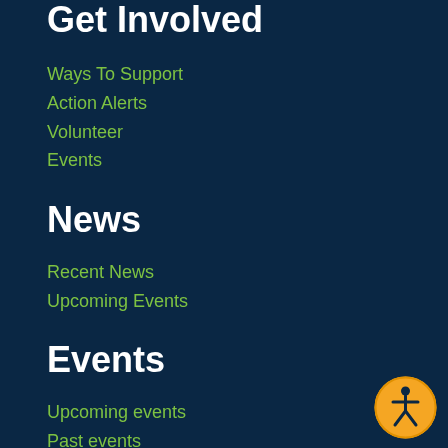Get Involved
Ways To Support
Action Alerts
Volunteer
Events
News
Recent News
Upcoming Events
Events
Upcoming events
Past events
[Figure (illustration): Orange circular accessibility icon with a human figure in the center, located in the bottom right corner]